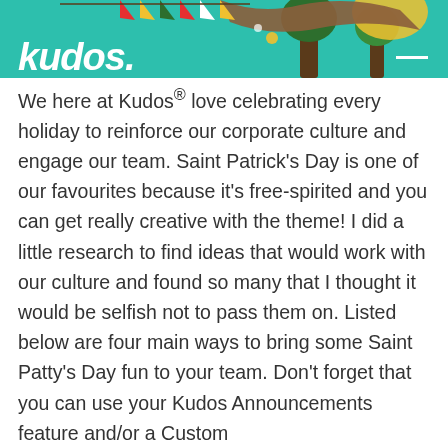[Figure (illustration): Teal/green header banner with festive Saint Patrick's Day decorations including pennant flags, trees, and colorful shapes. The Kudos logo in white italic bold text appears at the bottom-left of the banner, with a white dash/line at the top-right.]
We here at Kudos® love celebrating every holiday to reinforce our corporate culture and engage our team. Saint Patrick's Day is one of our favourites because it's free-spirited and you can get really creative with the theme! I did a little research to find ideas that would work with our culture and found so many that I thought it would be selfish not to pass them on. Listed below are four main ways to bring some Saint Patty's Day fun to your team. Don't forget that you can use your Kudos Announcements feature and/or a Custom [truncated]